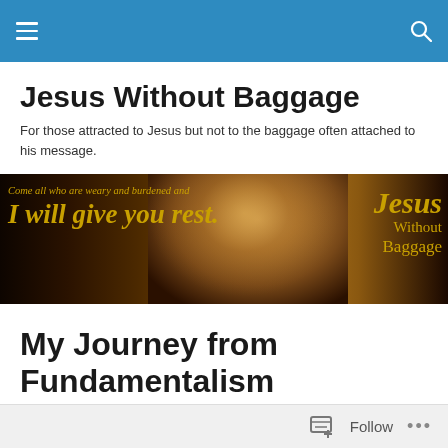Navigation bar with menu and search icons
Jesus Without Baggage
For those attracted to Jesus but not to the baggage often attached to his message.
[Figure (illustration): Banner image with dark background showing a painted face of Jesus on the right side, with golden italic text on the left reading 'Come all who are weary and burdened and I will give you rest.' and on the right 'Jesus Without Baggage']
My Journey from Fundamentalism
Follow ...